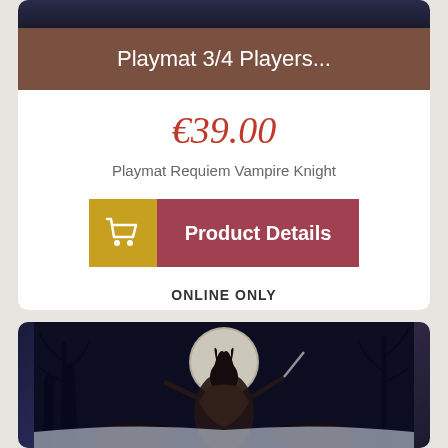Playmat 3/4 Players...
€39.00
Playmat Requiem Vampire Knight
Product Details
ONLINE ONLY
[Figure (photo): Fantasy artwork showing a warrior figure with dark hair battling creatures under a full moon with bare trees in background]